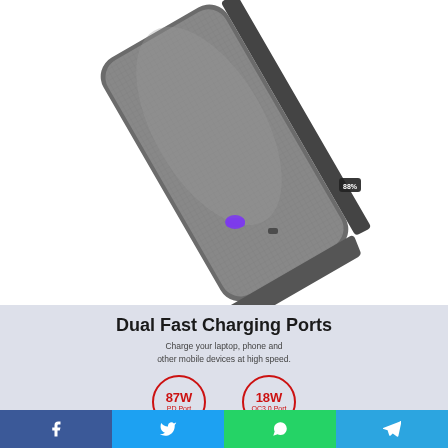[Figure (photo): Product photo of a gray power bank (portable charger) shown at an angle, with a purple USB-C port and a small port on the bottom face, and an LED indicator on the side showing battery level.]
Dual Fast Charging Ports
Charge your laptop, phone and other mobile devices at high speed.
[Figure (infographic): Two circular badge icons: one showing '87W PD Port' and another showing '18W QC3.0 Port', both in red outline circles.]
[Figure (infographic): Social sharing bar with Facebook, Twitter, WhatsApp, and Telegram icons.]